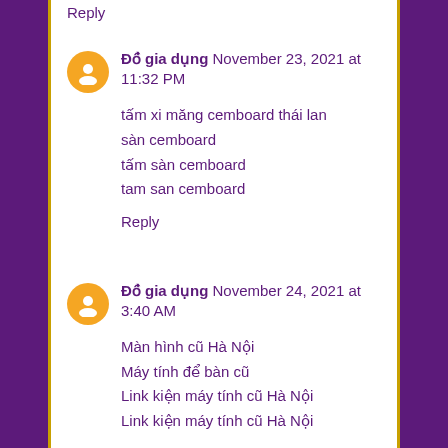Reply
Đồ gia dụng November 23, 2021 at 11:32 PM

tấm xi măng cemboard thái lan
sàn cemboard
tấm sàn cemboard
tam san cemboard

Reply
Đồ gia dụng November 24, 2021 at 3:40 AM

Màn hình cũ Hà Nội
Máy tính để bàn cũ
Link kiện máy tính cũ Hà Nội
Link kiện máy tính cũ Hà Nội

Reply